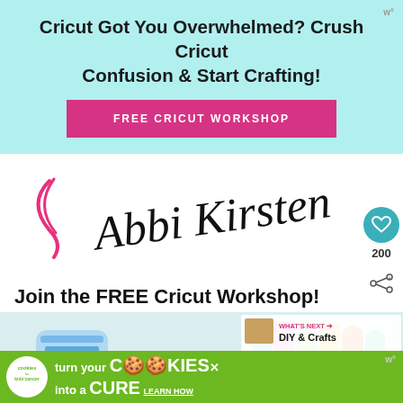Cricut Got You Overwhelmed? Crush Cricut Confusion & Start Crafting!
FREE CRICUT WORKSHOP
[Figure (illustration): Cursive signature reading 'Abbi Kirsten' with a pink swirl graphic on the left]
Join the FREE Cricut Workshop!
[Figure (photo): Photo of Cricut crafting supplies — colorful vinyl rolls, a Cricut machine, with text overlay '3 Secrets to Mastering Your Cricut']
[Figure (infographic): Green advertisement banner: cookies for kids cancer — turn your COOKIES into a CURE LEARN HOW]